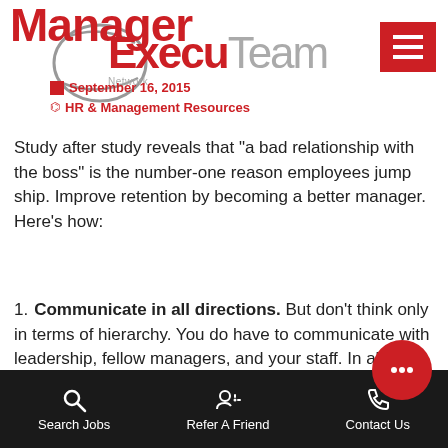Manager
[Figure (logo): ExecuTeam HR & Management Resources Network logo with circular swoosh graphic]
September 16, 2015
HR & Management Resources
Study after study reveals that “a bad relationship with the boss” is the number-one reason employees jump ship. Improve retention by becoming a better manager. Here’s how:
Communicate in all directions. But don’t think only in terms of hierarchy. You do have to communicate with leadership, fellow managers, and your staff. In all of these situations, however, the best managers both express and receive. Value listening equally with speaking, and you’ll have a view of the company a…
Search Jobs   Refer A Friend   Contact Us